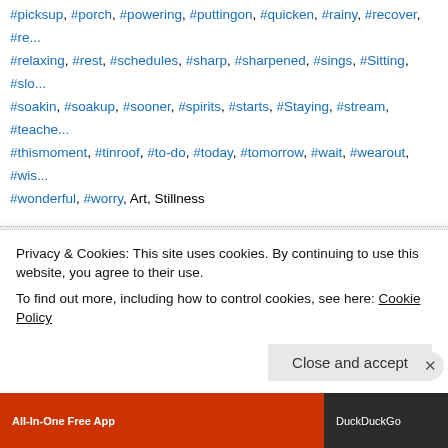#picksup, #porch, #powering, #puttingon, #quicken, #rainy, #recover, #re... #relaxing, #rest, #schedules, #sharp, #sharpened, #sings, #Sitting, #slow #soakin, #soakup, #sooner, #spirits, #starts, #Staying, #stream, #teache... #thismoment, #tinroof, #to-do, #today, #tomorrow, #wait, #wearout, #wis... #wonderful, #worry, Art, Stillness
Grounded, Simple, Generous, Controlled, Present
JAN 28  Posted by thewannabesaint.com
[Figure (photo): Book page showing partial text 'In dwelling, live cl...']
Privacy & Cookies: This site uses cookies. By continuing to use this website, you agree to their use. To find out more, including how to control cookies, see here: Cookie Policy
Close and accept